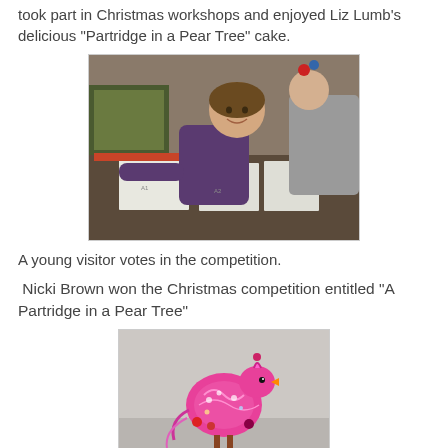took part in Christmas workshops and enjoyed Liz Lumb's delicious "Partridge in a Pear Tree" cake.
[Figure (photo): A young girl in a purple sweater smiling and reaching toward a small bowl on a table covered with papers, with two adults in the background wearing Christmas accessories, in an indoor event setting.]
A young visitor votes in the competition.
Nicki Brown won the Christmas competition entitled "A Partridge in a Pear Tree"
[Figure (photo): A decorative pink and colorful beaded bird sculpture resembling a partridge, displayed against a light grey background.]